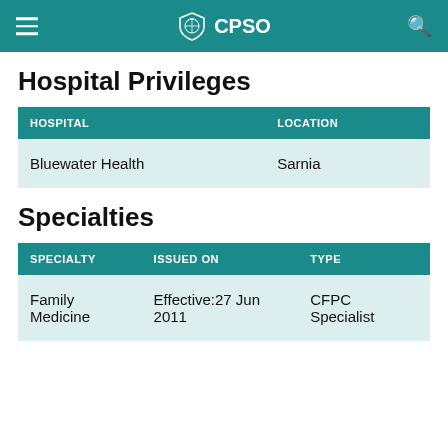CPSO
Hospital Privileges
| HOSPITAL | LOCATION |
| --- | --- |
| Bluewater Health | Sarnia |
Specialties
| SPECIALTY | ISSUED ON | TYPE |
| --- | --- | --- |
| Family Medicine | Effective:27 Jun 2011 | CFPC Specialist |